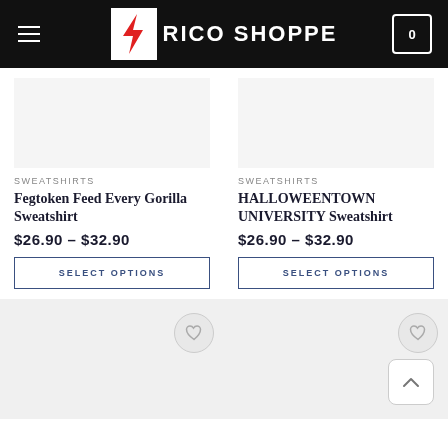BRICO SHOPPE
SWEATSHIRTS
Fegtoken Feed Every Gorilla Sweatshirt
$26.90 – $32.90
SELECT OPTIONS
SWEATSHIRTS
HALLOWEENTOWN UNIVERSITY Sweatshirt
$26.90 – $32.90
SELECT OPTIONS